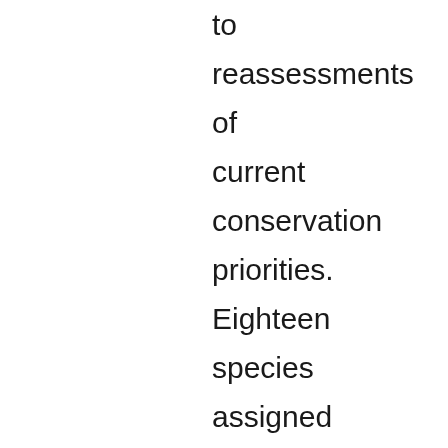to reassessments of current conservation priorities. Eighteen species assigned 'least concern' status by the GB regional IUCN Red List had much narrower